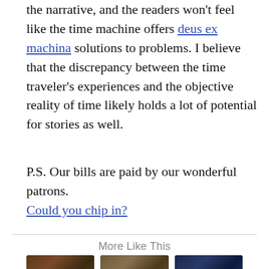the narrative, and the readers won't feel like the time machine offers deus ex machina solutions to problems. I believe that the discrepancy between the time traveler's experiences and the objective reality of time likely holds a lot of potential for stories as well.
P.S. Our bills are paid by our wonderful patrons. Could you chip in?
More Like This
[Figure (photo): Thumbnail image of a group scene, dark tones, labeled 'Five Worldbuilding']
[Figure (photo): Thumbnail image of two characters facing each other, labeled 'Making Sympathetic']
[Figure (photo): Thumbnail image of three superheroes standing together, dark background, labeled 'Five Stories That Violate']